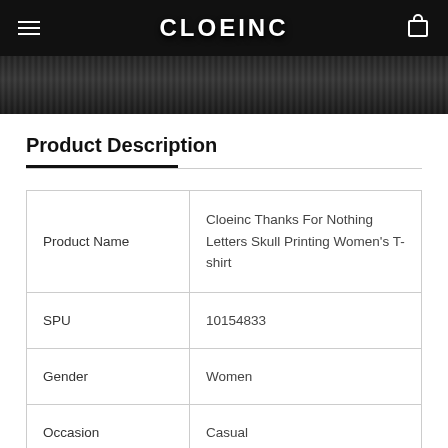CLOEINC
[Figure (photo): Dark hero image strip at top of page]
Product Description
|  |  |
| --- | --- |
| Product Name | Cloeinc Thanks For Nothing Letters Skull Printing Women's T-shirt |
| SPU | 10154833 |
| Gender | Women |
| Occasion | Casual |